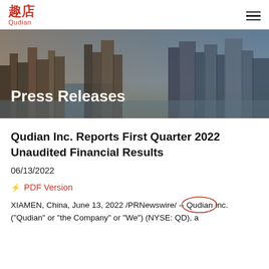趣店 Qudian
[Figure (photo): Aerial city skyline photo used as hero banner with 'Press Releases' text overlay]
Qudian Inc. Reports First Quarter 2022 Unaudited Financial Results
06/13/2022
PDF Version
XIAMEN, China, June 13, 2022 /PRNewswire/ -- Qudian Inc. ("Qudian" or "the Company" or "We") (NYSE: QD), a